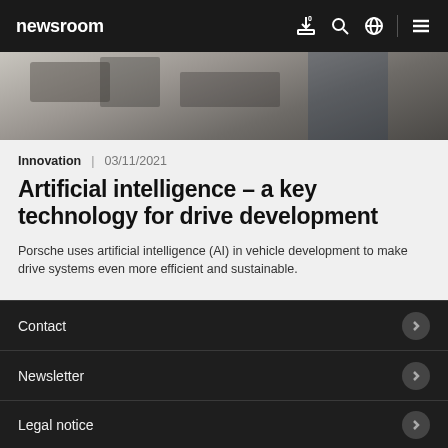newsroom
[Figure (photo): Close-up photo of mechanical/engine components being worked on, with a person in a blue jacket visible in the background]
Innovation | 03/11/2021
Artificial intelligence – a key technology for drive development
Porsche uses artificial intelligence (AI) in vehicle development to make drive systems even more efficient and sustainable.
Contact
Newsletter
Legal notice